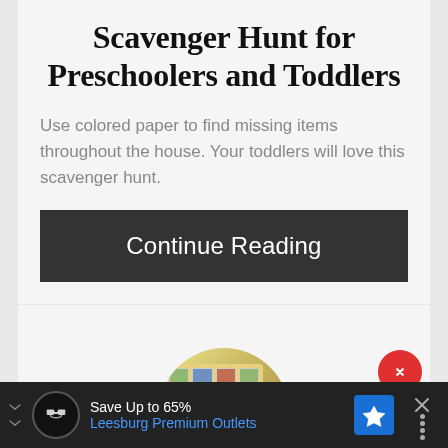Scavenger Hunt for Preschoolers and Toddlers
Use colored paper to find missing items throughout the house. Your toddlers will love this scavenger hunt.
Continue Reading
[Figure (photo): Circular cropped photo showing a colorful card grid activity board with picture cards on a wooden surface]
Save Up to 65%
Leesburg Premium Outlets